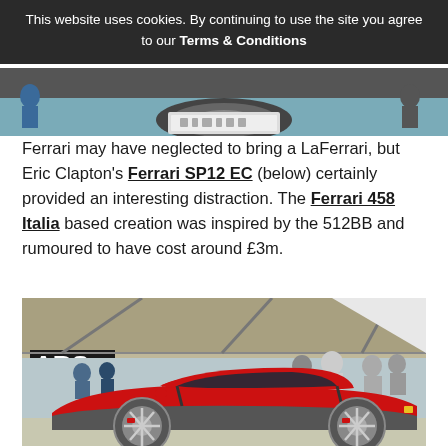This website uses cookies. By continuing to use the site you agree to our Terms & Conditions
[Figure (photo): Partial view of a car with a license plate, taken at an outdoor motorsport event]
Ferrari may have neglected to bring a LaFerrari, but Eric Clapton's Ferrari SP12 EC (below) certainly provided an interesting distraction. The Ferrari 458 Italia based creation was inspired by the 512BB and rumoured to have cost around £3m.
[Figure (photo): Red Ferrari SP12 EC (based on Ferrari 458 Italia) parked under a canopy tent at what appears to be a car show or motorsport event, with crowds of people in the background]